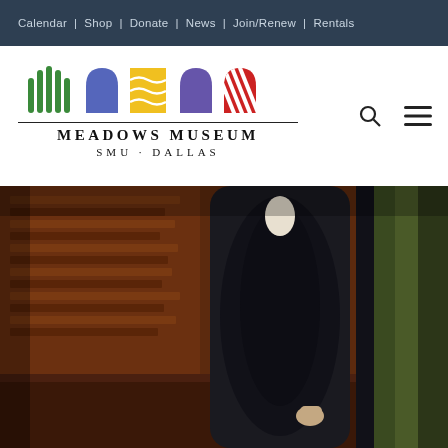Calendar | Shop | Donate | News | Join/Renew | Rentals
[Figure (logo): Meadows Museum SMU Dallas logo with colorful arch icons]
[Figure (photo): Classical oil painting detail showing a figure in dark robes standing in a room with bookshelves and papers]